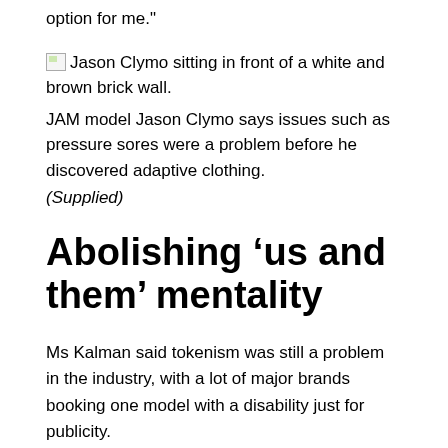option for me."
[Figure (photo): Jason Clymo sitting in front of a white and brown brick wall.]
JAM model Jason Clymo says issues such as pressure sores were a problem before he discovered adaptive clothing. (Supplied)
Abolishing ‘us and them’ mentality
Ms Kalman said tokenism was still a problem in the industry, with a lot of major brands booking one model with a disability just for publicity.
“They’re getting the jobs which is great, but it’s like some brands are just ticking a box and they’re having like a token